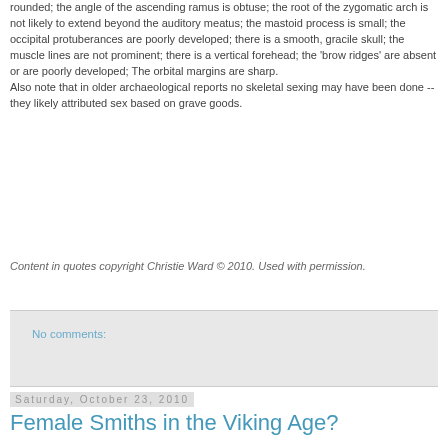rounded; the angle of the ascending ramus is obtuse; the root of the zygomatic arch is not likely to extend beyond the auditory meatus; the mastoid process is small; the occipital protuberances are poorly developed; there is a smooth, gracile skull; the muscle lines are not prominent; there is a vertical forehead; the 'brow ridges' are absent or are poorly developed; The orbital margins are sharp.
Also note that in older archaeological reports no skeletal sexing may have been done -- they likely attributed sex based on grave goods.
Content in quotes copyright Christie Ward © 2010. Used with permission.
No comments:
Saturday, October 23, 2010
Female Smiths in the Viking Age?